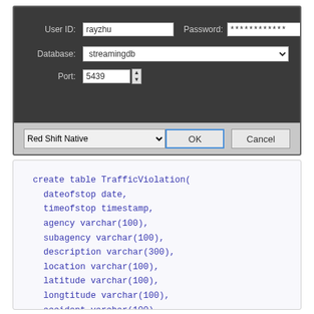[Figure (screenshot): Database connection dialog screenshot showing fields: User ID: rayzhu, Password: ************, Save password checkbox, Database: streamingdb, Port: 5439, with Red Shift Native dropdown, OK and Cancel buttons]
create table TrafficViolation(
  dateofstop date,
  timeofstop timestamp,
  agency varchar(100),
  subagency varchar(100),
  description varchar(300),
  location varchar(100),
  latitude varchar(100),
  longtitude varchar(100),
  accident varchar(100),
  belts varchar(100),
  personalinjury varchar(100),
  propertydamage varchar(100),